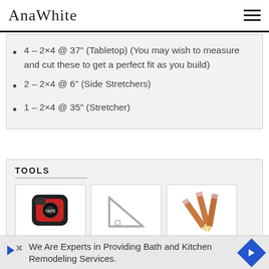AnaWhite
4 – 2×4 @ 37" (Tabletop) (You may wish to measure and cut these to get a perfect fit as you build)
2 – 2×4 @ 6" (Side Stretchers)
1 – 2×4 @ 35" (Stretcher)
TOOLS
[Figure (photo): Tape measure tool card]
[Figure (photo): Speed square tool card]
[Figure (photo): Pencil tool card]
We Are Experts in Providing Bath and Kitchen Remodeling Services.